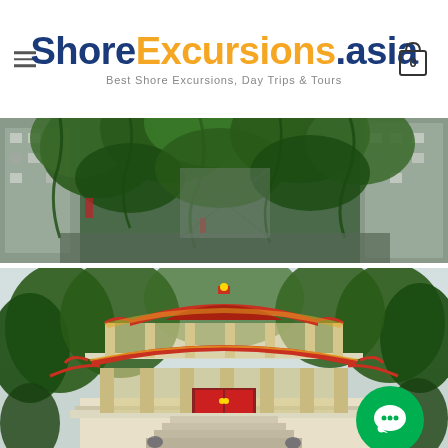ShoreExcursions.asia — Best Shore Excursions, Day Trips & Tours
[Figure (photo): Top section showing a narrow urban alley or street with green plants/vines covering walls, buildings on both sides, urban Asian cityscape viewed from above or street level.]
[Figure (photo): Large photo of a traditional Chinese Buddhist temple with multi-tiered pagoda-style roof, ornate red and gold decorations, white balustrades and staircases, surrounded by lush green trees. A green chat bubble icon overlays the bottom right corner.]